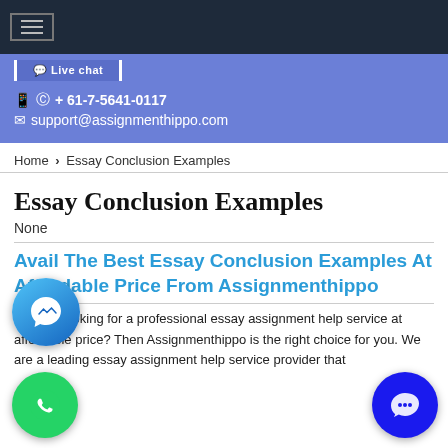≡
Live Chat | + 61-7-5641-0117 | support@assignmenthippo.com
Home › Essay Conclusion Examples
Essay Conclusion Examples
None
Avail The Best Essay Conclusion Examples At Affordable Price From Assignmenthippo
Are you looking for a professional essay assignment help service at affordable price? Then Assignmenthippo is the right choice for you. We are a leading essay assignment help service provider that